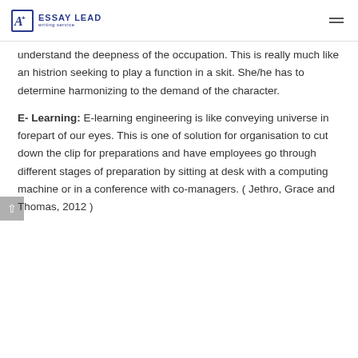ESSAY LEAD writing service
understand the deepness of the occupation. This is really much like an histrion seeking to play a function in a skit. She/he has to determine harmonizing to the demand of the character.
E- Learning: E-learning engineering is like conveying universe in forepart of our eyes. This is one of solution for organisation to cut down the clip for preparations and have employees go through different stages of preparation by sitting at desk with a computing machine or in a conference with co-managers. ( Jethro, Grace and Thomas, 2012 )